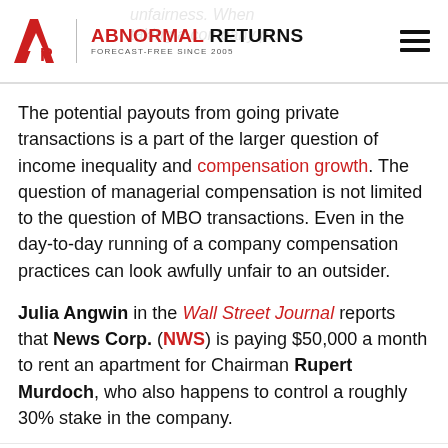ABNORMAL RETURNS — FORECAST-FREE SINCE 2005
The potential payouts from going private transactions is a part of the larger question of income inequality and compensation growth. The question of managerial compensation is not limited to the question of MBO transactions. Even in the day-to-day running of a company compensation practices can look awfully unfair to an outsider.
Julia Angwin in the Wall Street Journal reports that News Corp. (NWS) is paying $50,000 a month to rent an apartment for Chairman Rupert Murdoch, who also happens to control a roughly 30% stake in the company.
Patrick McGurn, a corporate-governance expert